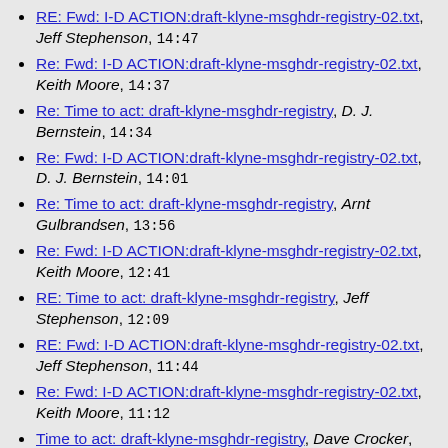RE: Fwd: I-D ACTION:draft-klyne-msghdr-registry-02.txt, Jeff Stephenson, 14:47
Re: Fwd: I-D ACTION:draft-klyne-msghdr-registry-02.txt, Keith Moore, 14:37
Re: Time to act: draft-klyne-msghdr-registry, D. J. Bernstein, 14:34
Re: Fwd: I-D ACTION:draft-klyne-msghdr-registry-02.txt, D. J. Bernstein, 14:01
Re: Time to act: draft-klyne-msghdr-registry, Arnt Gulbrandsen, 13:56
Re: Fwd: I-D ACTION:draft-klyne-msghdr-registry-02.txt, Keith Moore, 12:41
RE: Time to act: draft-klyne-msghdr-registry, Jeff Stephenson, 12:09
RE: Fwd: I-D ACTION:draft-klyne-msghdr-registry-02.txt, Jeff Stephenson, 11:44
Re: Fwd: I-D ACTION:draft-klyne-msghdr-registry-02.txt, Keith Moore, 11:12
Time to act: draft-klyne-msghdr-registry, Dave Crocker, 11:11
Re: Fwd: I-D ACTION:draft-klyne-msghdr-registry-02.txt, Dave Crocker, 11:11
Re: Fwd: I-D ACTION:draft-klyne-msghdr-registry-02.txt, Keith Moore, 11:08
Re: Fwd: I-D ACTION:draft-klyne-msghdr-registry-02.txt, Keith Moore, 11:01